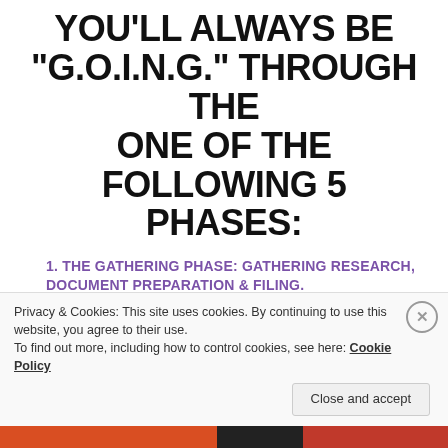YOU'LL ALWAYS BE "G.O.I.N.G." THROUGH THE ONE OF THE FOLLOWING 5 PHASES:
1. THE GATHERING PHASE: GATHERING RESEARCH, DOCUMENT PREPARATION & FILING.
RESEARCHING YOUR INDUSTRY, MARKET, & LOCATION.
CREATING YOUR BUSINESS PLAN, PITCH DECK &/OR PORTFOLIO.
Privacy & Cookies: This site uses cookies. By continuing to use this website, you agree to their use.
To find out more, including how to control cookies, see here: Cookie Policy
Close and accept